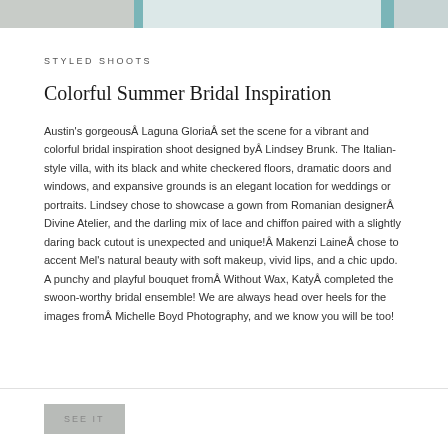[Figure (photo): Top image strip showing a stylized bridal/wedding venue photo with teal and gray tones]
STYLED SHOOTS
Colorful Summer Bridal Inspiration
Austin's gorgeousÂ Laguna GloriaÂ set the scene for a vibrant and colorful bridal inspiration shoot designed byÂ Lindsey Brunk. The Italian-style villa, with its black and white checkered floors, dramatic doors and windows, and expansive grounds is an elegant location for weddings or portraits. Lindsey chose to showcase a gown from Romanian designerÂ Divine Atelier, and the darling mix of lace and chiffon paired with a slightly daring back cutout is unexpected and unique!Â Makenzi LaineÂ chose to accent Mel’s natural beauty with soft makeup, vivid lips, and a chic updo. A punchy and playful bouquet fromÂ Without Wax, KatyÂ completed the swoon-worthy bridal ensemble! We are always head over heels for the images fromÂ Michelle Boyd Photography, and we know you will be too!
SEE IT